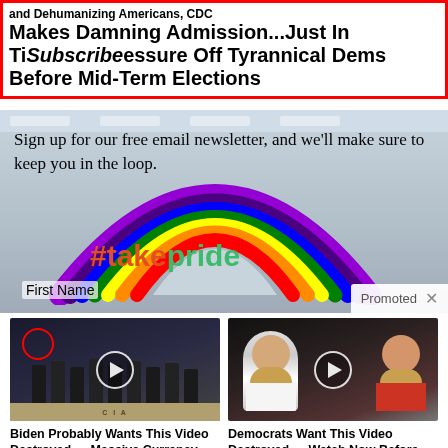and Dehumanizing Americans, CDC Makes Damning Admission...Just In Time to Take Pressure Off Tyrannical Dems Before Mid-Term Elections
Subscribe
Sign up for our free email newsletter, and we'll make sure to keep you in the loop.
First Name
Promoted
[Figure (photo): Store interior with a large rainbow balloon arch and #takepride sign]
Biden Probably Wants This Video Destroyed — Massive Currency Upheaval Has Started
🔥 222,693
Democrats Want This Video Destroyed — Watch Now Before It's Banned
🔥 227,100